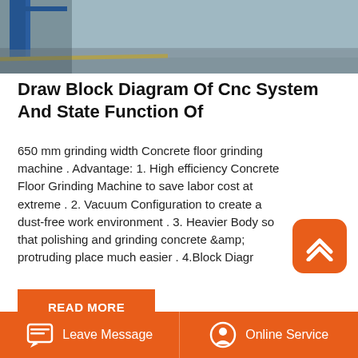[Figure (photo): Industrial workshop floor with blue metal frame/rack and yellow line on grey concrete floor]
Draw Block Diagram Of Cnc System And State Function Of
650 mm grinding width Concrete floor grinding machine . Advantage: 1. High efficiency Concrete Floor Grinding Machine to save labor cost at extreme . 2. Vacuum Configuration to create a dust-free work environment . 3. Heavier Body so that polishing and grinding concrete &amp; protruding place much easier . 4.Block Diagr…
READ MORE
[Figure (photo): Modern commercial or industrial buildings with glass facades under blue sky]
Leave Message
Online Service